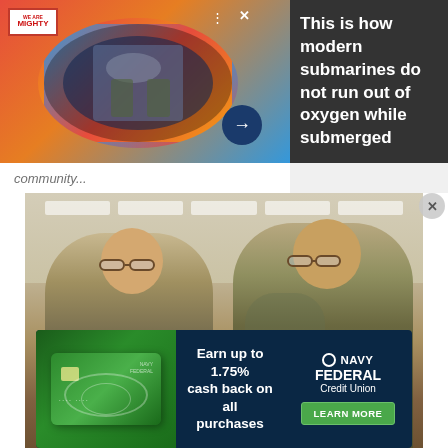[Figure (screenshot): Web article ad banner: 'We Are The Mighty' logo on colorful background with circle photo of soldiers inside submarine hatch. Dark gray panel on right with white bold text: 'This is how modern submarines do not run out of oxygen while submerged'. Arrow navigation button visible.]
community...
[Figure (photo): Two US Army soldiers in camouflage uniforms facing each other and smiling/conversing indoors in what appears to be a military facility with drop ceiling and fluorescent lights.]
[Figure (screenshot): Navy Federal Credit Union advertisement banner. Green card on left, text 'Earn up to 1.75% cash back on all purchases' in center, Navy Federal Credit Union logo and green 'LEARN MORE' button on right, on dark navy background.]